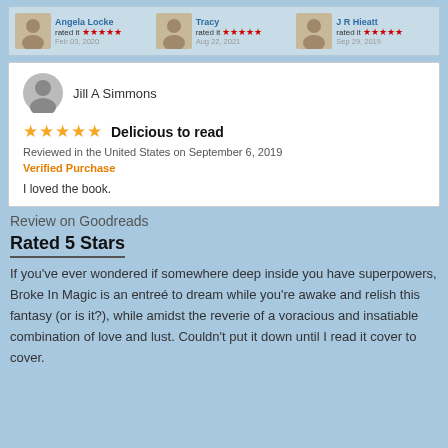[Figure (screenshot): Three reviewer thumbnails (Angela Locke, Tracy, J R Hieatt) each with 5-star rating and date]
[Figure (screenshot): Amazon review by Jill A Simmons, 5 stars, titled 'Delicious to read', Verified Purchase, text: I loved the book.]
Review on Goodreads
Rated 5 Stars
If you've ever wondered if somewhere deep inside you have superpowers, Broke In Magic is an entreé to dream while you're awake and relish this fantasy (or is it?), while amidst the reverie of a voracious and insatiable combination of love and lust. Couldn't put it down until I read it cover to cover.